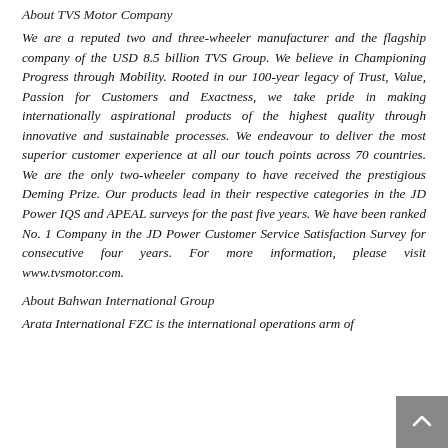About TVS Motor Company
We are a reputed two and three-wheeler manufacturer and the flagship company of the USD 8.5 billion TVS Group. We believe in Championing Progress through Mobility. Rooted in our 100-year legacy of Trust, Value, Passion for Customers and Exactness, we take pride in making internationally aspirational products of the highest quality through innovative and sustainable processes. We endeavour to deliver the most superior customer experience at all our touch points across 70 countries. We are the only two-wheeler company to have received the prestigious Deming Prize. Our products lead in their respective categories in the JD Power IQS and APEAL surveys for the past five years. We have been ranked No. 1 Company in the JD Power Customer Service Satisfaction Survey for consecutive four years. For more information, please visit www.tvsmotor.com.
About Bahwan International Group
Arata International FZC is the international operations arm of